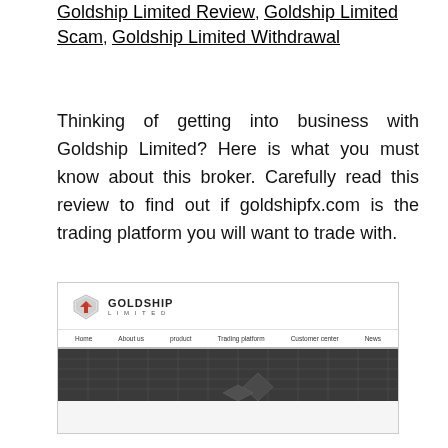Goldship Limited Review, Goldship Limited Scam, Goldship Limited Withdrawal
Thinking of getting into business with Goldship Limited? Here is what you must know about this broker. Carefully read this review to find out if goldshipfx.com is the trading platform you will want to trade with.
[Figure (screenshot): Screenshot of Goldship Limited website showing logo with shield icon and navigation menu with Home, About us, product, Trading platform, Customer center, News]